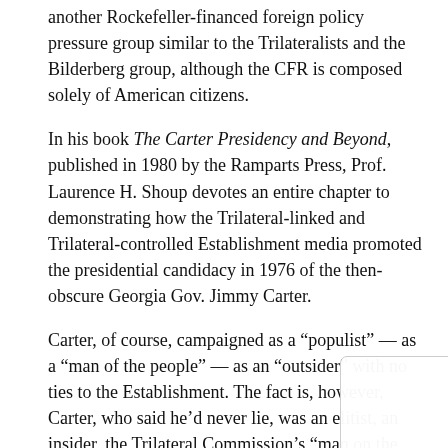another Rockefeller-financed foreign policy pressure group similar to the Trilateralists and the Bilderberg group, although the CFR is composed solely of American citizens.
In his book The Carter Presidency and Beyond, published in 1980 by the Ramparts Press, Prof. Laurence H. Shoup devotes an entire chapter to demonstrating how the Trilateral-linked and Trilateral-controlled Establishment media promoted the presidential candidacy in 1976 of the then-obscure Georgia Gov. Jimmy Carter.
Carter, of course, campaigned as a “populist” — as a “man of the people” — as an “outsider” with no ties to the Establishment. The fact is, however, Carter, who said he’d never lie, was an elitist, an insider, the Trilateral Commission’s “man on the white hors…
And with the power of the CFR and the Rockefeller empire and its media influence behind him, Carter made his way to the presidency, establishing the first full-fledged Trilateral administration, appointing numerous Trilateralists to…
By continuing to use the site, you agree to the use of cookies. more information